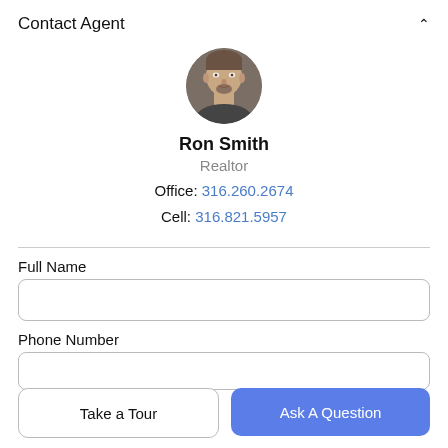Contact Agent
[Figure (photo): Circular profile photo of Ron Smith, a man with short hair and a goatee]
Ron Smith
Realtor
Office: 316.260.2674
Cell: 316.821.5957
Full Name
Phone Number
Take a Tour
Ask A Question